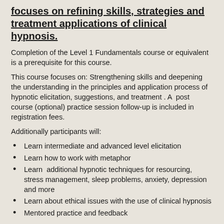focuses on refining skills, strategies and treatment applications of clinical hypnosis.
Completion of the Level 1 Fundamentals course or equivalent is a prerequisite for this course.
This course focuses on: Strengthening skills and deepening the understanding in the principles and application process of hypnotic elicitation, suggestions, and treatment . A  post course (optional) practice session follow-up is included in registration fees.
Additionally participants will:
Learn intermediate and advanced level elicitation
Learn how to work with metaphor
Learn  additional hypnotic techniques for resourcing, stress management, sleep problems, anxiety, depression and more
Learn about ethical issues with the use of clinical hypnosis
Mentored practice and feedback